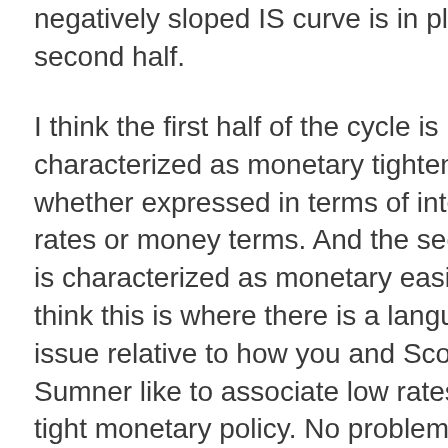negatively sloped IS curve is in play in the second half.
I think the first half of the cycle is characterized as monetary tightening - whether expressed in terms of interest rates or money terms. And the second half is characterized as monetary easing. And I think this is where there is a languaging issue relative to how you and Scott Sumner like to associate low rates with tight monetary policy. No problem with that association. But I think its true in respect of a specific sequence of causality and I think it should be time specific as I